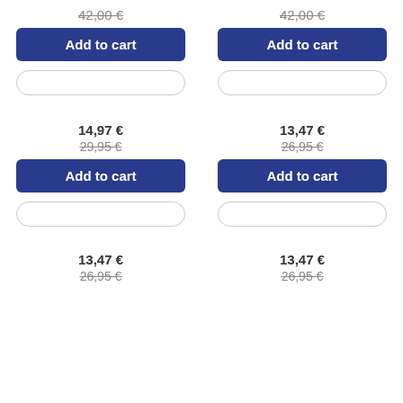42,00 €
42,00 €
Add to cart
Add to cart
14,97 €
13,47 €
29,95 €
26,95 €
Add to cart
Add to cart
13,47 €
13,47 €
26,95 €
26,95 €